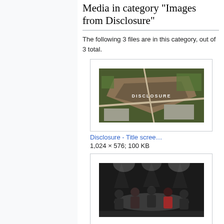Media in category "Images from Disclosure"
The following 3 files are in this category, out of 3 total.
[Figure (screenshot): Aerial/title screen screenshot from Disclosure film showing overhead view of a large venue with 'DISCLOSURE' text overlay]
Disclosure - Title scree…
1,024 × 576; 100 KB
[Figure (screenshot): Dark scene from Disclosure showing people seated at a round table under stage lighting]